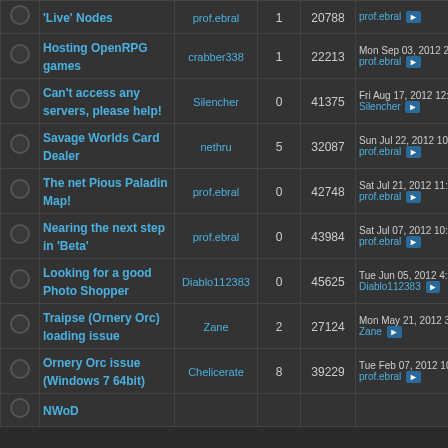|  | Topic | Author | Replies | Views | Last Post |
| --- | --- | --- | --- | --- | --- |
|  | 'Live' Nodes | prof.ebral | 1 | 20788 | prof.ebral ▶ |
|  | Hosting OpenRPG games | crabber338 | 1 | 22213 | Mon Sep 03, 2012 2:51 p
prof.ebral ▶ |
|  | Can't access any servers, please help! | Silencher | 0 | 41375 | Fri Aug 17, 2012 12:43 a
Silencher ▶ |
|  | Savage Worlds Card Dealer | nethru | 5 | 32087 | Sun Jul 22, 2012 10:17 p
prof.ebral ▶ |
|  | The net Pious Paladin Map! | prof.ebral | 0 | 42748 | Sat Jul 21, 2012 11:11 p
prof.ebral ▶ |
|  | Nearing the next step in 'Beta' | prof.ebral | 0 | 43984 | Sat Jul 07, 2012 10:41 p
prof.ebral ▶ |
|  | Looking for a good Photo Shopper | Diablo112383 | 0 | 45625 | Tue Jun 05, 2012 4:37 p
Diablo112383 ▶ |
|  | Traipse (Ornery Orc) loading issue | Zane | 2 | 27124 | Mon May 21, 2012 3:01 a
Zane ▶ |
|  | Ornery Orc issue (Windows 7 64bit) | Chelicerate | 8 | 39229 | Tue Feb 07, 2012 10:06 p
prof.ebral ▶ |
|  | NWoD... |  |  |  |  |